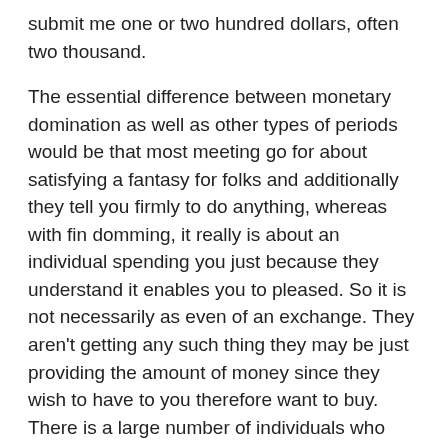submit me one or two hundred dollars, often two thousand.
The essential difference between monetary domination as well as other types of periods would be that most meeting go for about satisfying a fantasy for folks and additionally they tell you firmly to do anything, whereas with fin domming, it really is about an individual spending you just because they understand it enables you to pleased. So it is not necessarily as even of an exchange. They aren't getting any such thing they may be just providing the amount of money since they wish to have to you therefore want to buy. There is a large number of individuals who have the fetish but there are not too many who follow-through with-it. There is a large number of individuals who jerk off to discussing it without actually delivering such a thing.
Deixe um comentário
O seu endereço de e-mail não será publicado. Campos